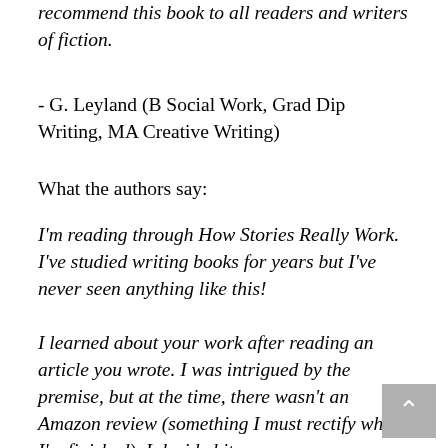recommend this book to all readers and writers of fiction.
- G. Leyland (B Social Work, Grad Dip Writing, MA Creative Writing)
What the authors say:
I'm reading through How Stories Really Work. I've studied writing books for years but I've never seen anything like this!
I learned about your work after reading an article you wrote. I was intrigued by the premise, but at the time, there wasn't an Amazon review (something I must rectify when I'm finished). I decided it